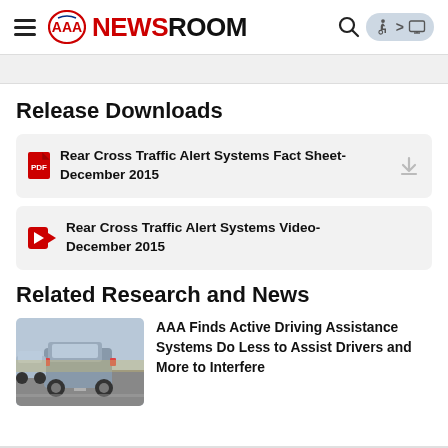AAA NEWSROOM
Release Downloads
Rear Cross Traffic Alert Systems Fact Sheet- December 2015
Rear Cross Traffic Alert Systems Video- December 2015
Related Research and News
[Figure (photo): Rear view of two vehicles on a road, SUV in foreground]
AAA Finds Active Driving Assistance Systems Do Less to Assist Drivers and More to Interfere